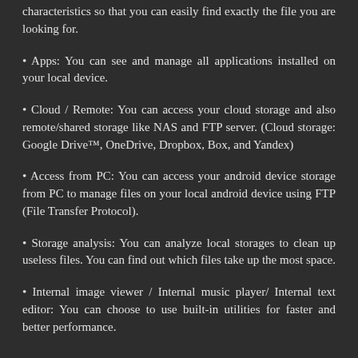characteristics so that you can easily find exactly the file you are looking for.
• Apps: You can see and manage all applications installed on your local device.
• Cloud / Remote: You can access your cloud storage and also remote/shared storage like NAS and FTP server. (Cloud storage: Google Drive™, OneDrive, Dropbox, Box, and Yandex)
• Access from PC: You can access your android device storage from PC to manage files on your local android device using FTP (File Transfer Protocol).
• Storage analysis: You can analyze local storages to clean up useless files. You can find out which files take up the most space.
• Internal image viewer / Internal music player/ Internal text editor: You can choose to use built-in utilities for faster and better performance.